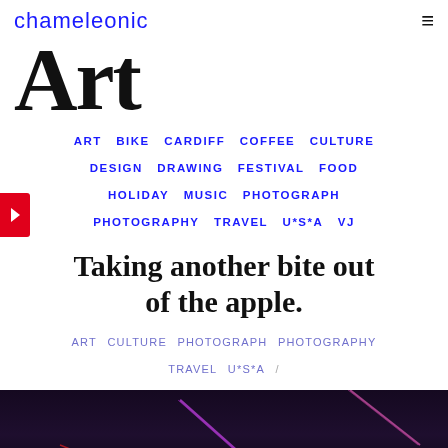chameleonic
Art
ART  BIKE  CARDIFF  COFFEE  CULTURE  DESIGN  DRAWING  FESTIVAL  FOOD  HOLIDAY  MUSIC  PHOTOGRAPH  PHOTOGRAPHY  TRAVEL  U*S*A  VJ
Taking another bite out of the apple.
ART  CULTURE  PHOTOGRAPH  PHOTOGRAPHY  TRAVEL  U*S*A /
[Figure (photo): Aerial night photograph of a city skyline with lights, laser beams in purple and red, and urban infrastructure visible from above.]